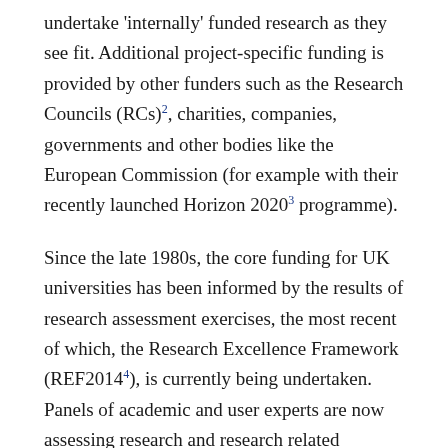undertake 'internally' funded research as they see fit. Additional project-specific funding is provided by other funders such as the Research Councils (RCs)², charities, companies, governments and other bodies like the European Commission (for example with their recently launched Horizon 2020³ programme).
Since the late 1980s, the core funding for UK universities has been informed by the results of research assessment exercises, the most recent of which, the Research Excellence Framework (REF2014⁴), is currently being undertaken. Panels of academic and user experts are now assessing research and research related information submitted last November and the results will be published in